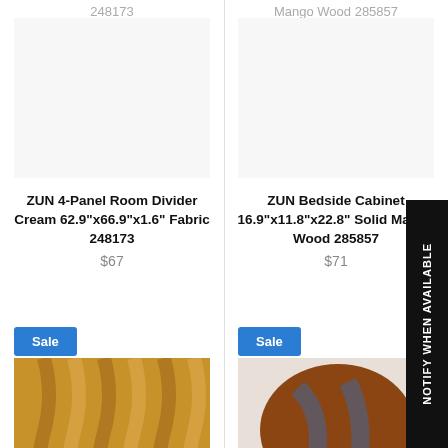248173
Mango Wood 285857
[Figure (photo): ZUN 4-Panel Room Divider product image (mostly white/cream fabric)]
[Figure (photo): ZUN Bedside Cabinet product image (solid mango wood)]
ZUN 4-Panel Room Divider Cream 62.9"x66.9"x1.6" Fabric 248173
$67
ZUN Bedside Cabinet 16.9"x11.8"x22.8" Solid Mango Wood 285857
$71
Sale
Sale
[Figure (photo): Bamboo/wood wavy panel product image]
[Figure (photo): Round wood and resin side table on black metal legs]
NOTIFY WHEN AVAILABLE